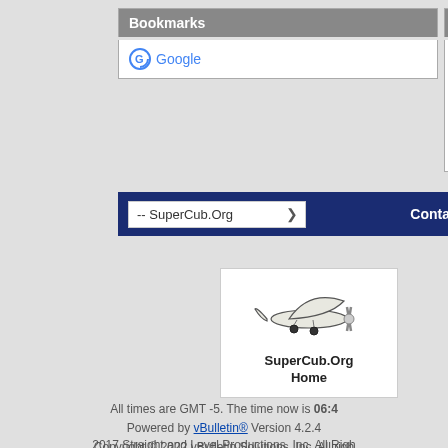Bookmarks
Google
Posting Perm
You may not threads
You may not
You may not attachments
You may not posts
-- SuperCub.Org
Conta
[Figure (logo): SuperCub.Org Home logo with illustration of a light aircraft]
All times are GMT -5. The time now is 06:4
Powered by vBulletin® Version 4.2.4
Copyright © 2022 vBulletin Solutions, Inc. All righ
2017 Straight and Level Productions, Inc. All Righ